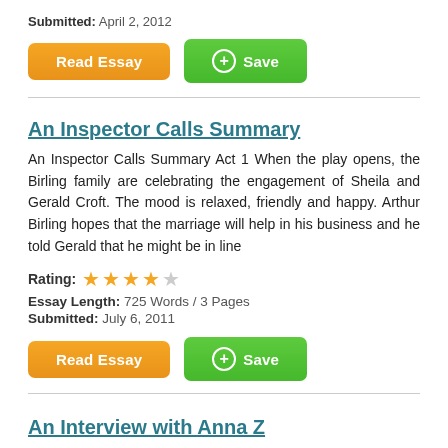Submitted: April 2, 2012
[Figure (screenshot): Read Essay button (orange) and Save button (green)]
An Inspector Calls Summary
An Inspector Calls Summary Act 1 When the play opens, the Birling family are celebrating the engagement of Sheila and Gerald Croft. The mood is relaxed, friendly and happy. Arthur Birling hopes that the marriage will help in his business and he told Gerald that he might be in line
Rating: ★★★★☆
Essay Length: 725 Words / 3 Pages
Submitted: July 6, 2011
[Figure (screenshot): Read Essay button (orange) and Save button (green)]
An Interview with Anna Z